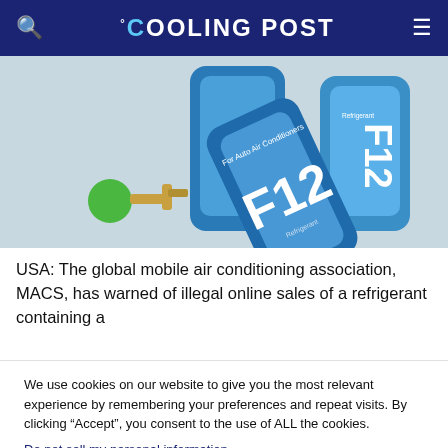COOLING POST
[Figure (photo): Photo of blue refrigerant cans labeled F12 for auto air conditioners, with a green valve/fitting connector, on a light background.]
USA: The global mobile air conditioning association, MACS, has warned of illegal online sales of a refrigerant containing a
We use cookies on our website to give you the most relevant experience by remembering your preferences and repeat visits. By clicking “Accept”, you consent to the use of ALL the cookies.
Do not sell my personal information.
Cookie Settings   Accept